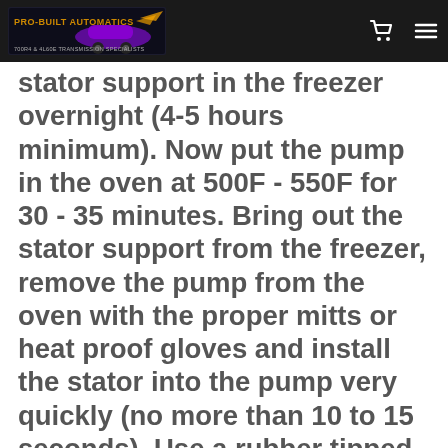Pro-Built Automatics navigation bar with logo and icons
stator support in the freezer overnight (4-5 hours minimum). Now put the pump in the oven at 500F - 550F for 30 - 35 minutes. Bring out the stator support from the freezer, remove the pump from the oven with the proper mitts or heat proof gloves and install the stator into the pump very quickly (no more than 10 to 15 seconds). Use a rubber tipped hammer if needed to install the stator support. Once the support is installed flush with the pump, turn the pump